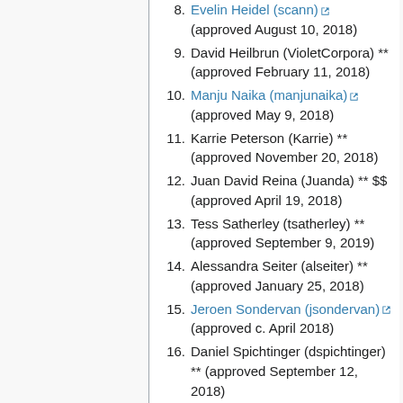8. Evelin Heidel (scann) (approved August 10, 2018)
9. David Heilbrun (VioletCorpora) ** (approved February 11, 2018)
10. Manju Naika (manjunaika) (approved May 9, 2018)
11. Karrie Peterson (Karrie) ** (approved November 20, 2018)
12. Juan David Reina (Juanda) ** $$ (approved April 19, 2018)
13. Tess Satherley (tsatherley) ** (approved September 9, 2019)
14. Alessandra Seiter (alseiter) ** (approved January 25, 2018)
15. Jeroen Sondervan (jsondervan) (approved c. April 2018)
16. Daniel Spichtinger (dspichtinger) ** (approved September 12, 2018)
17. Mandy Taha (mandy) ** $$